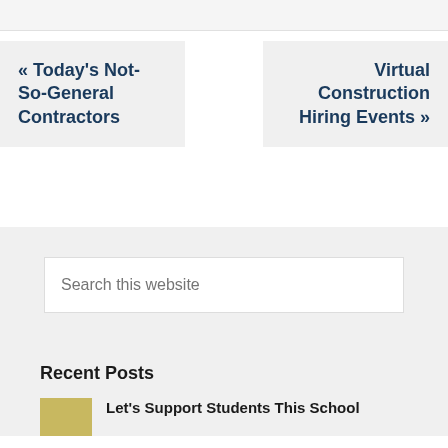« Today's Not-So-General Contractors
Virtual Construction Hiring Events »
Search this website
Recent Posts
Let's Support Students This School